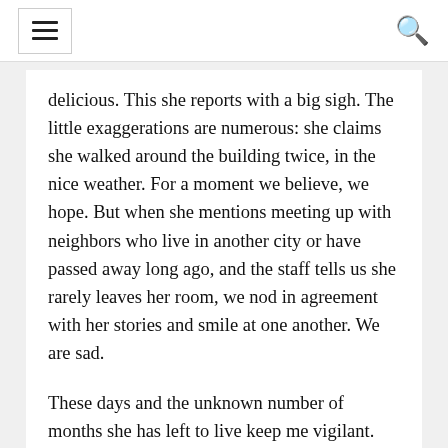[hamburger menu] [search icon]
delicious. This she reports with a big sigh. The little exaggerations are numerous: she claims she walked around the building twice, in the nice weather. For a moment we believe, we hope. But when she mentions meeting up with neighbors who live in another city or have passed away long ago, and the staff tells us she rarely leaves her room, we nod in agreement with her stories and smile at one another. We are sad.
These days and the unknown number of months she has left to live keep me vigilant. We have picked up where we will be the best